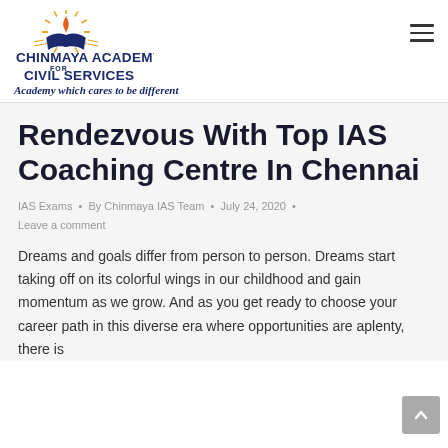[Figure (logo): Chinmaya Academy for Civil Services logo with flame, book and sunburst graphic above the text]
CHINMAYA ACADEMY FOR CIVIL SERVICES
Academy which cares to be different
Rendezvous With Top IAS Coaching Centre In Chennai
IAS Exams • By Chinmaya IAS Team • July 24, 2020 •
Leave a comment
Dreams and goals differ from person to person. Dreams start taking off on its colorful wings in our childhood and gain momentum as we grow. And as you get ready to choose your career path in this diverse era where opportunities are aplenty, there is